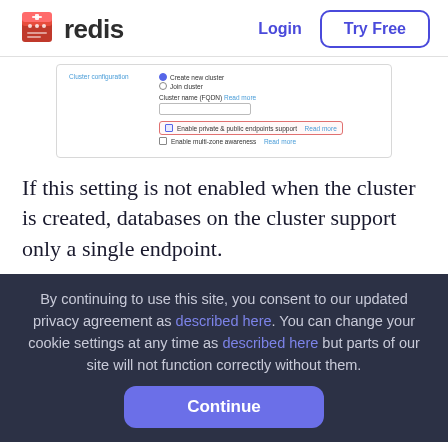[Figure (logo): Redis logo: red cube icon with white marks and 'redis' text in dark gray]
Login
Try Free
[Figure (screenshot): Cluster configuration form screenshot showing: Create new cluster / Join cluster radio buttons, Cluster name (FQDN) field with Read more link, Enable private & public endpoints support checkbox highlighted in red border with Read more link, Enable multi-zone awareness checkbox with Read more link]
If this setting is not enabled when the cluster is created, databases on the cluster support only a single endpoint.
By continuing to use this site, you consent to our updated privacy agreement as described here. You can change your cookie settings at any time as described here but parts of our site will not function correctly without them.
Continue